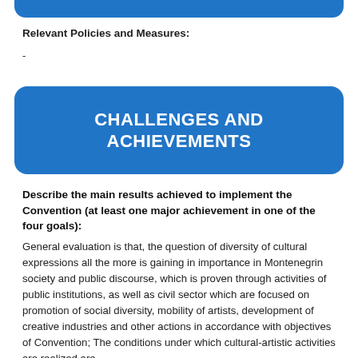Relevant Policies and Measures:
-
CHALLENGES AND ACHIEVEMENTS
Describe the main results achieved to implement the Convention (at least one major achievement in one of the four goals): General evaluation is that, the question of diversity of cultural expressions all the more is gaining in importance in Montenegrin society and public discourse, which is proven through activities of public institutions, as well as civil sector which are focused on promotion of social diversity, mobility of artists, development of creative industries and other actions in accordance with objectives of Convention; The conditions under which cultural-artistic activities are realized are